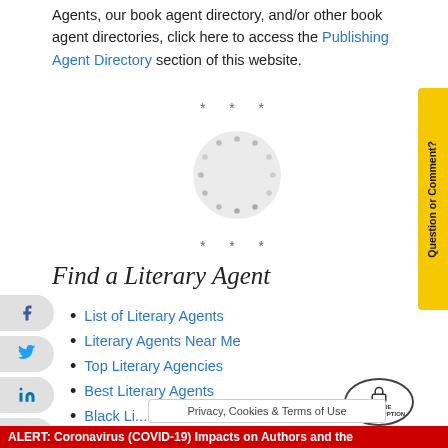Agents, our book agent directory, and/or other book agent directories, click here to access the Publishing Agent Directory section of this website.
* * *
[Figure (other): Loading spinner circle with dots arranged in a circular pattern on a light grey circle background]
* * *
Find a Literary Agent
List of Literary Agents
Literary Agents Near Me
Top Literary Agencies
Best Literary Agents
Black Li...
Privacy, Cookies & Terms of Use
ALERT: Coronavirus (COVID-19) Impacts on Authors and the